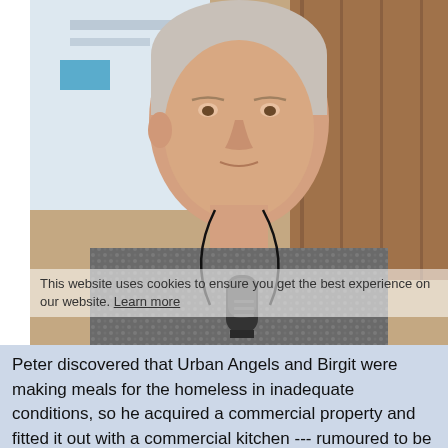[Figure (photo): An elderly man with white/grey hair wearing a patterned grey shirt holds a black microphone. He appears to be speaking at an event. In the background there is a wooden wall and what appears to be a presentation screen. A cookie consent overlay is visible at the bottom of the image reading 'This website uses cookies to ensure you get the best experience on our website. Learn more'.]
Peter discovered that Urban Angels and Birgit were making meals for the homeless in inadequate conditions, so he acquired a commercial property and fitted it out with a commercial kitchen --- rumoured to be about $500,000